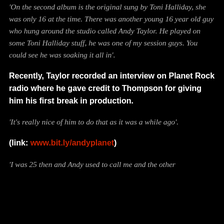'On the second album is the original sung by Toni Halliday, she was only 16 at the time. There was another young 16 year old guy who hung around the studio called Andy Taylor. He played on some Toni Halliday stuff, he was one of my session guys. You could see he was soaking it all in'.
Recently, Taylor recorded an interview on Planet Rock radio where he gave credit to Thompson for giving him his first break in production.
'It's really nice of him to do that as it was a while ago'.
(link: www.bit.ly/andyplanet)
'I was 25 then and Andy used to call me and the other